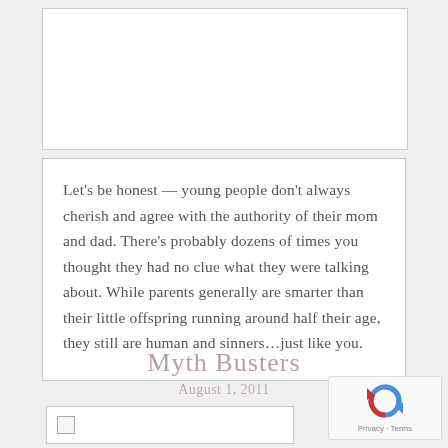[Figure (photo): White image box placeholder at top of page]
Let's be honest — young people don't always cherish and agree with the authority of their mom and dad. There's probably dozens of times you thought they had no clue what they were talking about. While parents generally are smarter than their little offspring running around half their age, they still are human and sinners…just like you.
Myth Busters
August 1, 2011
[Figure (photo): Broken image placeholder box]
[Figure (logo): reCAPTCHA logo with Privacy and Terms text]